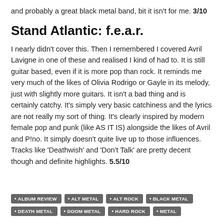and probably a great black metal band, bit it isn't for me. 3/10
Stand Atlantic: f.e.a.r.
I nearly didn't cover this. Then I remembered I covered Avril Lavigne in one of these and realised I kind of had to. It is still guitar based, even if it is more pop than rock. It reminds me very much of the likes of Olivia Rodrigo or Gayle in its melody, just with slightly more guitars. It isn't a bad thing and is certainly catchy. It's simply very basic catchiness and the lyrics are not really my sort of thing. It's clearly inspired by modern female pop and punk (like AS IT IS) alongside the likes of Avril and P!no. It simply doesn't quite live up to those influences. Tracks like 'Deathwish' and 'Don't Talk' are pretty decent though and definite highlights. 5.5/10
ALBUM REVIEW
ALT METAL
ALT ROCK
BLACK METAL
DEATH METAL
DOOM METAL
HARD ROCK
METAL